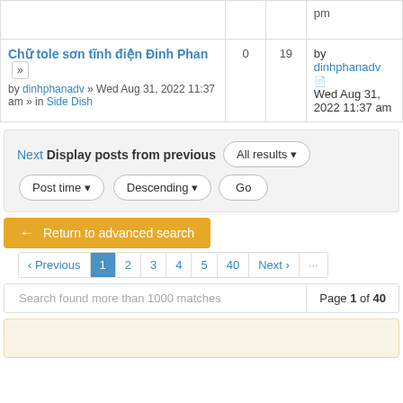| Topic | Replies | Views | Last post |
| --- | --- | --- | --- |
|  |  |  | pm |
| Chữ tole sơn tĩnh điện Đinh Phan
by dinhphanadv » Wed Aug 31, 2022 11:37 am » in Side Dish | 0 | 19 | by dinhphanadv
Wed Aug 31, 2022 11:37 am |
Next Display posts from previous   All results ▼   Post time ▼   Descending ▼   Go
← Return to advanced search
‹ Previous  1  2  3  4  5  40  Next ›  ···
Search found more than 1000 matches   Page 1 of 40